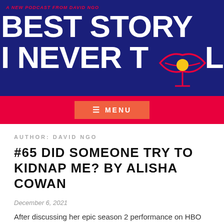A NEW PODCAST FROM DAVID NGO
BEST STORY I NEVER TOLD
[Figure (logo): Pink and yellow lip/mouth logo with a microphone icon, outlined in pink on dark blue background]
MENU
AUTHOR: DAVID NGO
#65 DID SOMEONE TRY TO KIDNAP ME? BY ALISHA COWAN
December 6, 2021
After discussing her epic season 2 performance on HBO